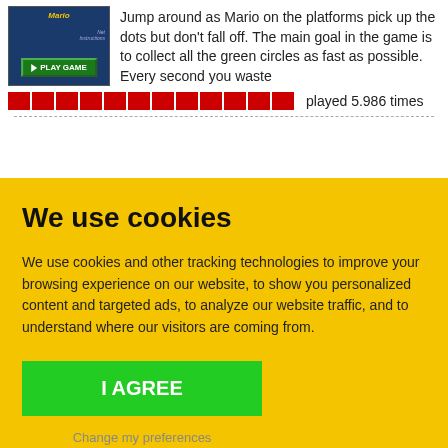[Figure (screenshot): Game thumbnail showing Mario game with blue background and green PLAY GAME button]
Jump around as Mario on the platforms pick up the dots but don't fall off. The main goal in the game is to collect all the green circles as fast as possible. Every second you waste
[Figure (other): Red rating bar made of rectangular blocks]
played 5.986 times
We use cookies
We use cookies and other tracking technologies to improve your browsing experience on our website, to show you personalized content and targeted ads, to analyze our website traffic, and to understand where our visitors are coming from.
I AGREE
Change my preferences